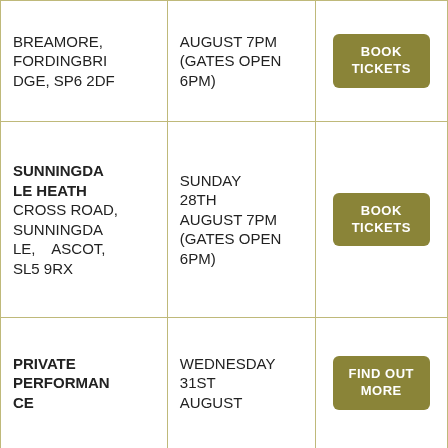| Location | Date/Time | Action |
| --- | --- | --- |
| BREAMORE, FORDINGBRIDGE, SP6 2DF | AUGUST 7PM (GATES OPEN 6PM) | BOOK TICKETS |
| SUNNINGDALE HEATH
CROSS ROAD, SUNNINGDALE, ASCOT, SL5 9RX | SUNDAY 28TH AUGUST 7PM (GATES OPEN 6PM) | BOOK TICKETS |
| PRIVATE PERFORMANCE | WEDNESDAY 31ST AUGUST | FIND OUT MORE |
| BEAUMARIS CASTLE
CASTLE | THURSDAY 1ST SEPTEMBER | BOOK TICKETS |